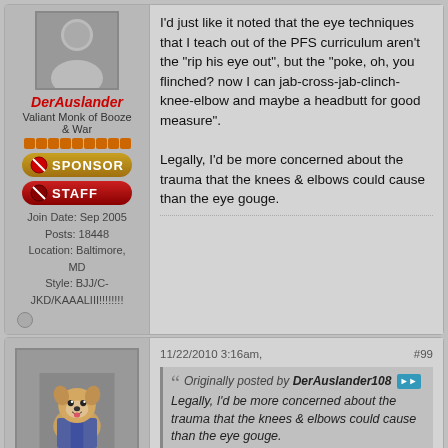[Figure (photo): Avatar placeholder silhouette]
DerAuslander
Valiant Monk of Booze & War
[Figure (illustration): Sponsor badge]
[Figure (illustration): Staff badge]
Join Date: Sep 2005
Posts: 18448
Location: Baltimore, MD
Style: BJJ/C-JKD/KAAALIII!!!!!!!!
I'd just like it noted that the eye techniques that I teach out of the PFS curriculum aren't the "rip his eye out", but the "poke, oh, you flinched? now I can jab-cross-jab-clinch-knee-elbow and maybe a headbutt for good measure".

Legally, I'd be more concerned about the trauma that the knees & elbows could cause than the eye gouge.
[Figure (photo): Dog avatar - Shiba Inu wearing jacket]
CrackFox
You have to work the look.
11/22/2010 3:16am,
#99
Originally posted by DerAuslander108
Legally, I'd be more concerned about the trauma that the knees & elbows could cause than the eye gouge.